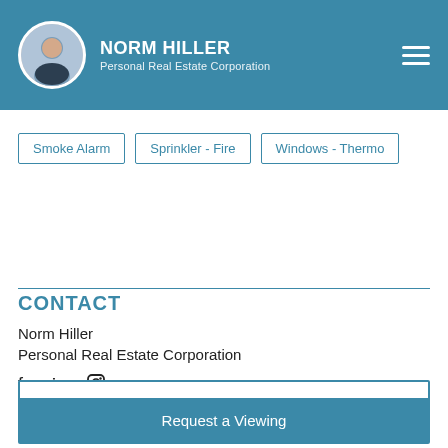NORM HILLER Personal Real Estate Corporation
Smoke Alarm
Sprinkler - Fire
Windows - Thermo
CONTACT
Norm Hiller
Personal Real Estate Corporation
Ask a Question
Request a Viewing